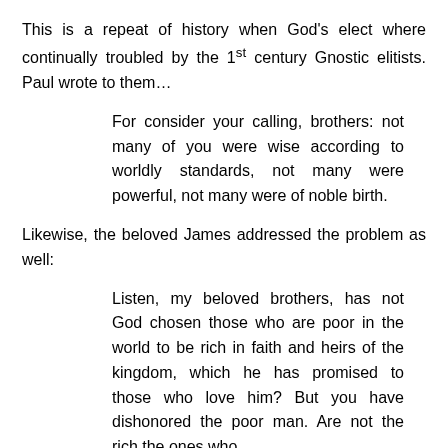This is a repeat of history when God's elect where continually troubled by the 1st century Gnostic elitists. Paul wrote to them…
For consider your calling, brothers: not many of you were wise according to worldly standards, not many were powerful, not many were of noble birth.
Likewise, the beloved James addressed the problem as well:
Listen, my beloved brothers, has not God chosen those who are poor in the world to be rich in faith and heirs of the kingdom, which he has promised to those who love him? But you have dishonored the poor man. Are not the rich the ones who